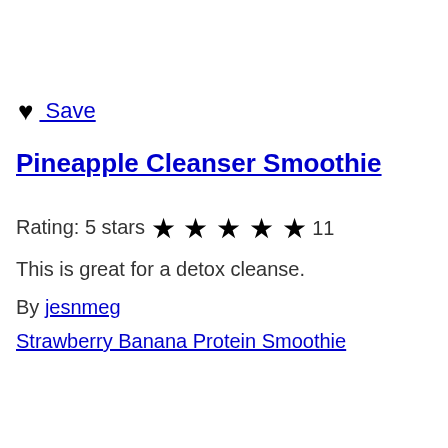♥  Save
Pineapple Cleanser Smoothie
Rating: 5 stars ★ ★ ★ ★ ★ 11
This is great for a detox cleanse.
By jesnmeg
Strawberry Banana Protein Smoothie